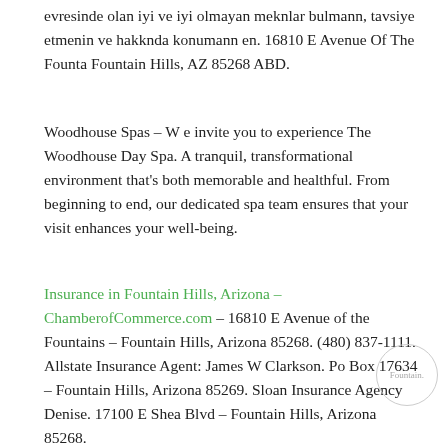evresinde olan iyi ve iyi olmayan meknlar bulmann, tavsiye etmenin ve hakknda konumann en. 16810 E Avenue Of The Founta Fountain Hills, AZ 85268 ABD.
Woodhouse Spas – W e invite you to experience The Woodhouse Day Spa. A tranquil, transformational environment that's both memorable and healthful. From beginning to end, our dedicated spa team ensures that your visit enhances your well-being.
Insurance in Fountain Hills, Arizona – ChamberofCommerce.com – 16810 E Avenue of the Fountains – Fountain Hills, Arizona 85268. (480) 837-1111. Allstate Insurance Agent: James W Clarkson. Po Box 17634 – Fountain Hills, Arizona 85269. Sloan Insurance Agency Denise. 17100 E Shea Blvd – Fountain Hills, Arizona 85268.